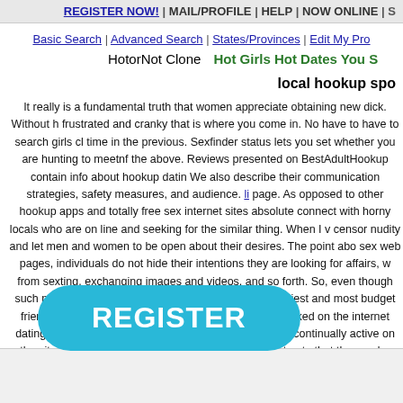REGISTER NOW! | MAIL/PROFILE | HELP | NOW ONLINE | S
Basic Search | Advanced Search | States/Provinces | Edit My Pro
HotorNot Clone   Hot Girls Hot Dates You S
local hookup spo
It really is a fundamental truth that women appreciate obtaining new dick. Without h frustrated and cranky that is where you come in. No have to have to search girls cl time in the previous. Sexfinder status lets you set whether you are hunting to meetnf the above. Reviews presented on BestAdultHookup contain info about hookup datin We also describe their communication strategies, safety measures, and audience. li page. As opposed to other hookup apps and totally free sex internet sites absolute connect with horny locals who are on line and seeking for the similar thing. When I v censor nudity and let men and women to be open about their desires. The point abo sex web pages, individuals do not hide their intentions they are looking for affairs, w from sexting, exchanging images and videos, and so forth. So, even though such pla Go for a swim with Lots of Fish, one of the easiest and most budget friendly technic app, the platform supplies a feature packed on the internet dating knowledge that c walks of life, most of whom are continually active on the site. kuala lumpur dating s possible matches. Just note that the gender distribution is uneven, and there may we only moments away. When you join Cost free Hookup Affair, you prioritize getting la rs that comprehend mains ople to check their mail, w
REGISTER